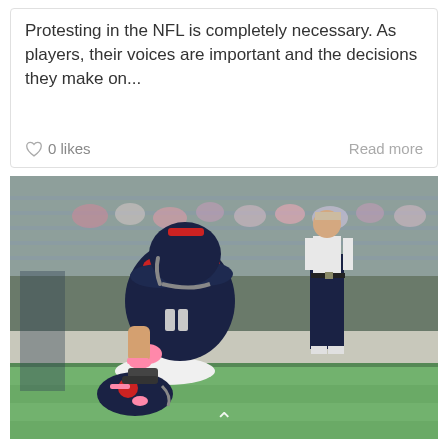Protesting in the NFL is completely necessary. As players, their voices are important and the decisions they make on...
0 likes   Read more
[Figure (photo): An NFL player in a Houston Texans uniform (navy, red, and white with number 23 and pink accents) kneeling on one knee on the sideline field, head bowed down, with a helmet on the ground beside them. A man in dress clothes (dark navy pants, white shirt, dark belt) stands in the background on the right. Stadium bleachers and other figures visible in background.]